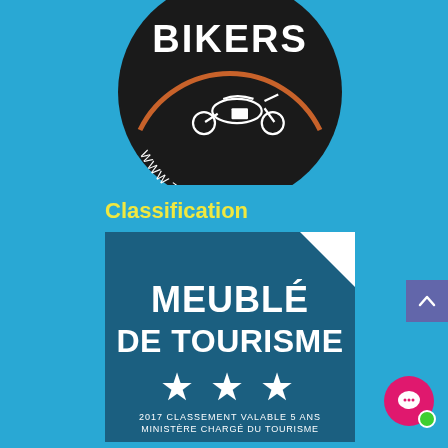[Figure (logo): Bikers Trip N Bike logo — circular black badge with motorcycle image and text BIKERS / www.tripnbike.com]
Classification
[Figure (logo): Meublé de Tourisme 3-star classification badge — dark blue square with white corner fold, bold white text MEUBLÉ DE TOURISME, three white stars, and text 2017 CLASSEMENT VALABLE 5 ANS / MINISTÈRE CHARGÉ DU TOURISME]